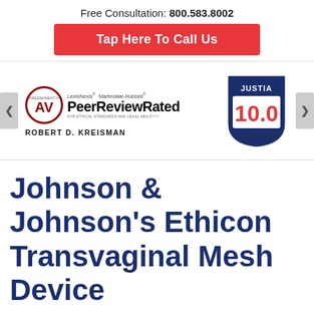Free Consultation: 800.583.8002
Tap Here To Call Us
[Figure (logo): AV Preeminent LexisNexis Martindale-Hubbell Peer Review Rated badge for Robert D. Kreisman]
[Figure (logo): Justia 10.0 Lawyer Rating shield badge]
Johnson & Johnson's Ethicon Transvaginal Mesh Device
Ethicon, which is a division of Johnson &